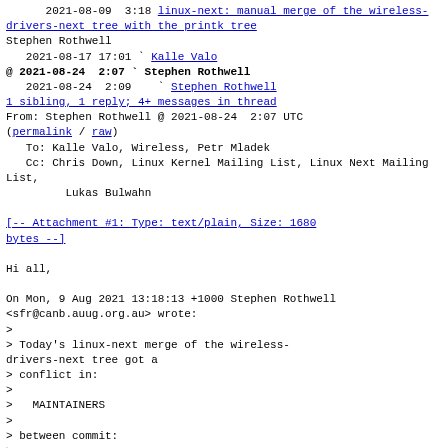2021-08-09  3:18 linux-next: manual merge of the wireless-drivers-next tree with the printk tree
Stephen Rothwell
2021-08-17 17:01 ` Kalle Valo
@ 2021-08-24  2:07 ` Stephen Rothwell
2021-08-24  2:09    ` Stephen Rothwell
1 sibling, 1 reply; 4+ messages in thread
From: Stephen Rothwell @ 2021-08-24  2:07 UTC (permalink / raw)
To: Kalle Valo, Wireless, Petr Mladek
Cc: Chris Down, Linux Kernel Mailing List, Linux Next Mailing List,
        Lukas Bulwahn
[-- Attachment #1: Type: text/plain, Size: 1680 bytes --]
Hi all,
On Mon, 9 Aug 2021 13:18:13 +1000 Stephen Rothwell
<sfr@canb.auug.org.au> wrote:
>
> Today's linux-next merge of the wireless-drivers-next tree got a
> conflict in:
>
>   MAINTAINERS
>
> between commit:
>